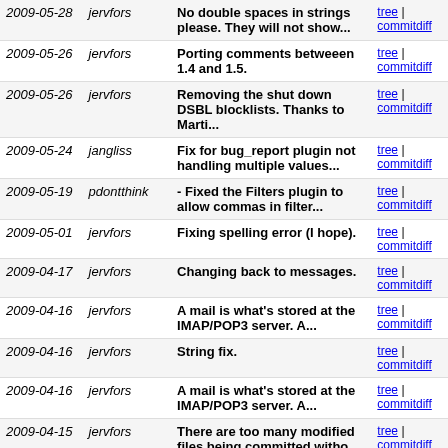| Date | Author | Message | Links |
| --- | --- | --- | --- |
| 2009-05-28 | jervfors | No double spaces in strings please. They will not show... | tree | commitdiff |
| 2009-05-26 | jervfors | Porting comments betweeen 1.4 and 1.5. | tree | commitdiff |
| 2009-05-26 | jervfors | Removing the shut down DSBL blocklists. Thanks to Marti... | tree | commitdiff |
| 2009-05-24 | jangliss | Fix for bug_report plugin not handling multiple values... | tree | commitdiff |
| 2009-05-19 | pdontthink | - Fixed the Filters plugin to allow commas in filter... | tree | commitdiff |
| 2009-05-01 | jervfors | Fixing spelling error (I hope). | tree | commitdiff |
| 2009-04-17 | jervfors | Changing back to messages. | tree | commitdiff |
| 2009-04-16 | jervfors | A mail is what's stored at the IMAP/POP3 server. A... | tree | commitdiff |
| 2009-04-16 | jervfors | String fix. | tree | commitdiff |
| 2009-04-16 | jervfors | A mail is what's stored at the IMAP/POP3 server. A... | tree | commitdiff |
| 2009-04-15 | jervfors | There are too many modified files being committed witho... | tree | commitdiff |
| 2009-04-15 | jervfors | Removing the PHP close tag at the last line. | tree | commitdiff |
| 2009-04-15 | kink | fix listcommands template for Send form changes | tree | commitdiff |